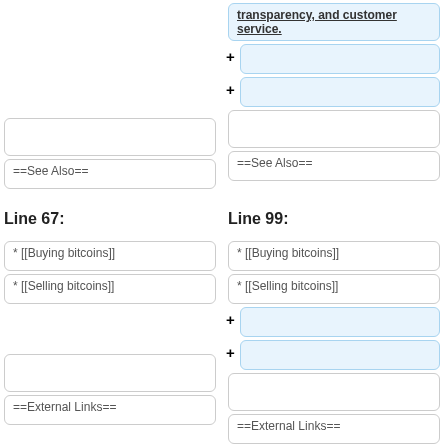transparency, and customer service.
+ (empty added line)
+ (empty added line)
(empty box)
==See Also==
==See Also==
Line 67:
Line 99:
* [[Buying bitcoins]]
* [[Buying bitcoins]]
* [[Selling bitcoins]]
* [[Selling bitcoins]]
+ (empty added line)
+ (empty added line)
(empty box)
==External Links==
==External Links==